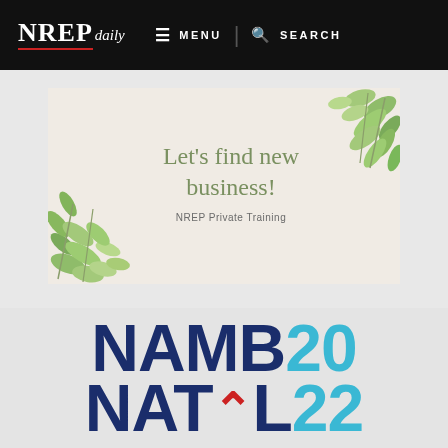NREP daily  ☰ MENU  | 🔍 SEARCH
[Figure (illustration): Promotional banner with green botanical leaf illustrations. Text reads 'Let’s find new business!' in olive green, with subtitle 'NREP Private Training' in gray below.]
[Figure (logo): NAMB 2022 National conference logo. 'NAMB' in large dark navy bold letters, '20' in large cyan bold letters, 'NAT’L' in large dark navy bold letters, '22' in large cyan bold letters. Stacked in two rows.]